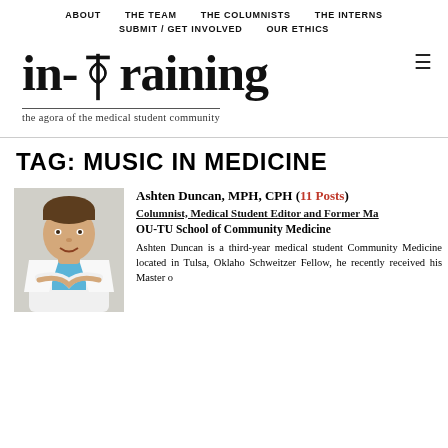ABOUT   THE TEAM   THE COLUMNISTS   THE INTERNS   SUBMIT / GET INVOLVED   OUR ETHICS
[Figure (logo): in-Training logo with caduceus symbol and tagline 'the agora of the medical student community']
TAG: MUSIC IN MEDICINE
[Figure (photo): Headshot of Ashten Duncan in white medical coat]
Ashten Duncan, MPH, CPH (11 Posts)
Columnist, Medical Student Editor and Former Ma
OU-TU School of Community Medicine
Ashten Duncan is a third-year medical student Community Medicine located in Tulsa, Oklaho Schweitzer Fellow, he recently received his Master o